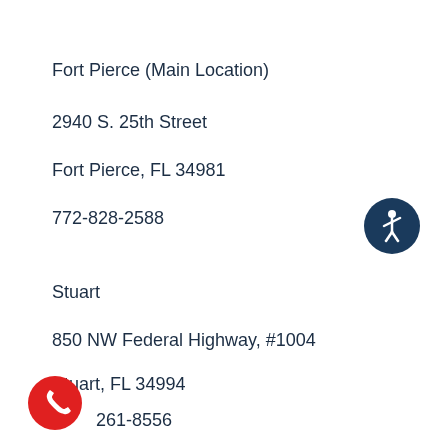Fort Pierce (Main Location)
2940 S. 25th Street
Fort Pierce, FL 34981
772-828-2588
[Figure (illustration): Circular accessibility icon — dark navy circle with white person silhouette in wheelchair or accessibility pose]
Stuart
850 NW Federal Highway, #1004
Stuart, FL 34994
261-8556
[Figure (illustration): Red circular phone icon with white handset symbol]